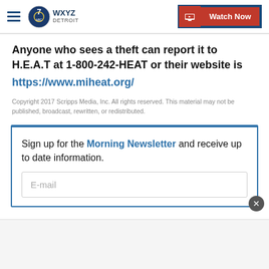WXYZ Detroit — Watch Now
Anyone who sees a theft can report it to H.E.A.T at 1-800-242-HEAT or their website is https://www.miheat.org/
Copyright 2017 Scripps Media, Inc. All rights reserved. This material may not be published, broadcast, rewritten, or redistributed.
Sign up for the Morning Newsletter and receive up to date information.
E-mail